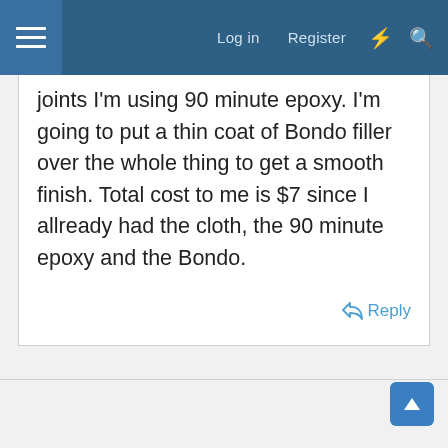Log in  Register
joints I'm using 90 minute epoxy. I'm going to put a thin coat of Bondo filler over the whole thing to get a smooth finish. Total cost to me is $7 since I allready had the cloth, the 90 minute epoxy and the Bondo.